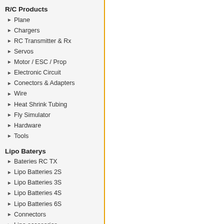R/C Products
Plane
Chargers
RC Transmitter & Rx
Servos
Motor / ESC / Prop
Electronic Circuit
Conectors & Adapters
Wire
Heat Shrink Tubing
Fly Simulator
Hardware
Tools
Lipo Baterys
Bateries RC TX
Lipo Batteries 2S
Lipo Batteries 3S
Lipo Batteries 4S
Lipo Batteries 6S
Connectors
Lipo accesories
Li-Ion Battery
Single Cells
Li-Ion Battery 3S
Li-Ion Battery 4S
Li-Ion 8S Battery
Li-Ion Battery 6S
Droens Services
Flight Case
RPA Pilot Course (Drones)
Clearance